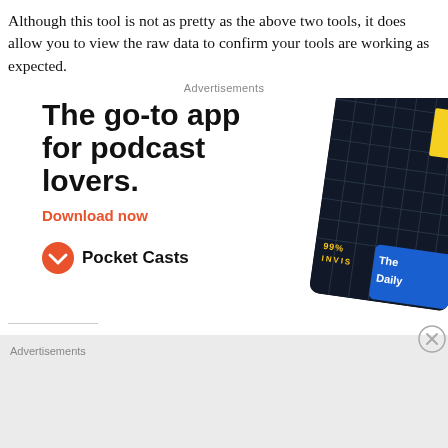Although this tool is not as pretty as the above two tools, it does allow you to view the raw data to confirm your tools are working as expected.
Advertisements
[Figure (illustration): Pocket Casts advertisement banner. Large bold text reads 'The go-to app for podcast lovers.' Below is an orange 'Download now' link. The Pocket Casts logo (orange circle with headphone icon) and name appear at bottom left. On the right is a rotated dark card showing '99% INVIS...' text and a yellow rectangle, with a blue 'The Daily' card overlapping at bottom right.]
Advertisements